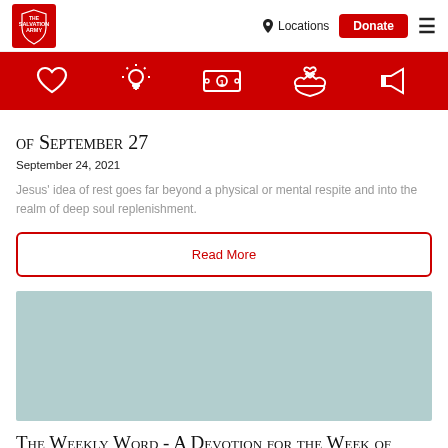The Salvation Army — Locations | Donate
[Figure (infographic): Red navigation bar with five white icons: heart, lightbulb, dollar bill, hands holding heart, megaphone]
of September 27
September 24, 2021
Jesus' idea of rest goes far beyond a physical or mental respite and into the realm of deep soul replenishment.
Read More
[Figure (photo): Light teal/gray placeholder image block]
The Weekly Word - A Devotion for the Week of September 13